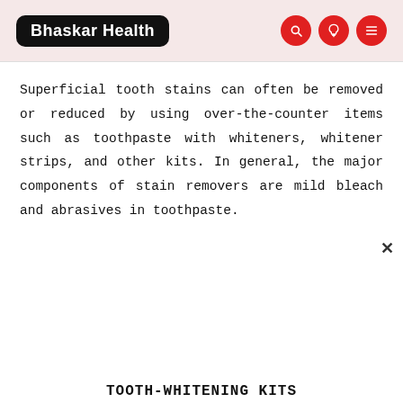Bhaskar Health
Superficial tooth stains can often be removed or reduced by using over-the-counter items such as toothpaste with whiteners, whitener strips, and other kits. In general, the major components of stain removers are mild bleach and abrasives in toothpaste.
TOOTH-WHITENING KITS